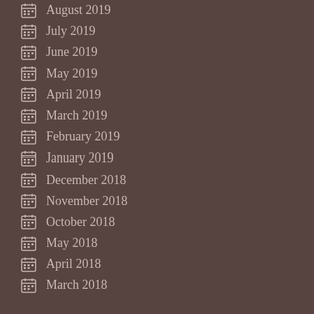August 2019
July 2019
June 2019
May 2019
April 2019
March 2019
February 2019
January 2019
December 2018
November 2018
October 2018
May 2018
April 2018
March 2018